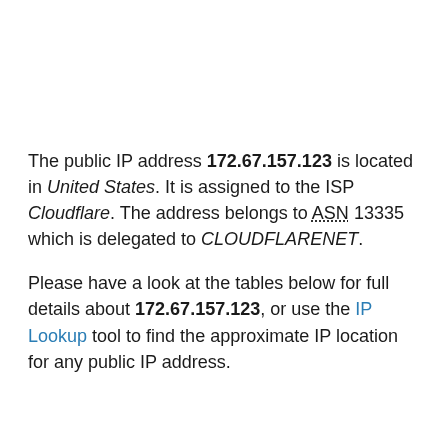The public IP address 172.67.157.123 is located in United States. It is assigned to the ISP Cloudflare. The address belongs to ASN 13335 which is delegated to CLOUDFLARENET.
Please have a look at the tables below for full details about 172.67.157.123, or use the IP Lookup tool to find the approximate IP location for any public IP address.